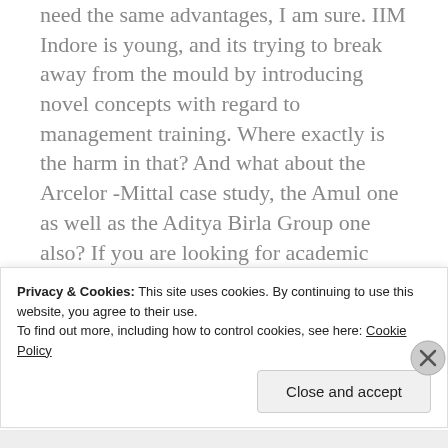need the same advantages, I am sure. IIM Indore is young, and its trying to break away from the mould by introducing novel concepts with regard to management training. Where exactly is the harm in that? And what about the Arcelor -Mittal case study, the Amul one as well as the Aditya Birla Group one also? If you are looking for academic rigor, I dont see where it is lacking with respect to making the case studies.
And if you are to talk of the publicity that
Privacy & Cookies: This site uses cookies. By continuing to use this website, you agree to their use.
To find out more, including how to control cookies, see here: Cookie Policy
Close and accept